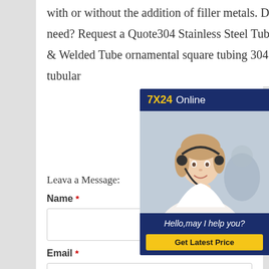with or without the addition of filler metals. Dont see what you need? Request a Quote304 Stainless Steel Tubing 304L Seamless & Welded Tube ornamental square tubing 304 31 stainless tubular
[Figure (other): Chat widget with '7X24 Online' header in dark blue, photo of a customer service representative with headset, and 'Hello,may I help you?' message with 'Get Latest Price' yellow button]
Leava a Message:
Name *
Email *